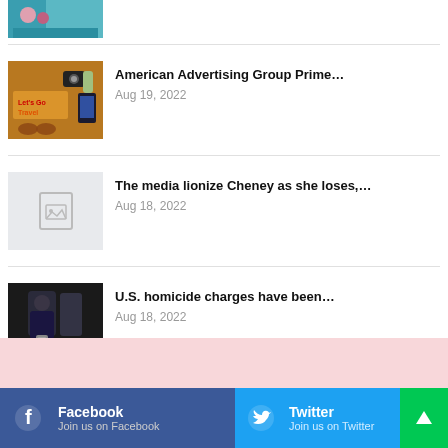[Figure (photo): Partial view of a news article thumbnail photo at top of list]
American Advertising Group Prime… Aug 19, 2022
[Figure (photo): Travel themed illustration with camera, glasses, 'Let's Go Travel' text]
The media lionize Cheney as she loses,… Aug 18, 2022
[Figure (illustration): No image placeholder icon]
U.S. homicide charges have been… Aug 18, 2022
[Figure (photo): Police arrest scene photo, person in handcuffs]
Facebook Join us on Facebook | Twitter Join us on Twitter